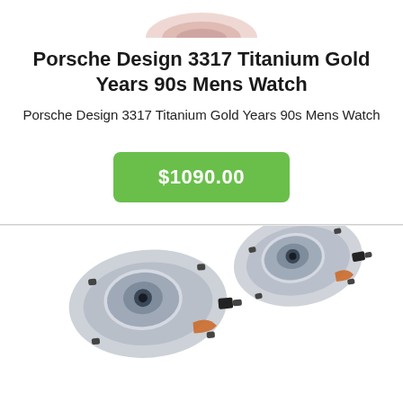[Figure (photo): Top portion of a Porsche Design watch, cropped at top of page]
Porsche Design 3317 Titanium Gold Years 90s Mens Watch
Porsche Design 3317 Titanium Gold Years 90s Mens Watch
$1090.00
[Figure (photo): Two Lexus/car headlights shown side by side, partially cropped at bottom of page]